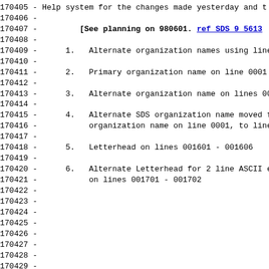170405 - Help system for the changes made yesterday and t
170406 -
170407 -         [See planning on 980601. ref SDS 9 5613
170408 -
170409 -      1.  Alternate organization names using lines
170410 -
170411 -      2.  Primary organization name on line 0001 +
170412 -
170413 -      3.  Alternate organization name on lines 001
170414 -
170415 -      4.  Alternate SDS organization name moved fr
170416 -          organization name on line 0001, to lines
170417 -
170418 -      5.  Letterhead on lines 001601 - 001606
170419 -
170420 -      6.  Alternate Letterhead for 2 line ASCII en
170421 -          on lines 001701 - 001702
170422 -
170423 -
170424 -
170425 -
170426 -
170427 -
170428 -
170429 -
170430 -
170431 -
170432 -
170433 -